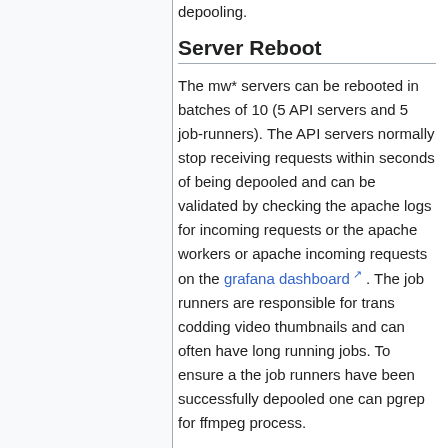depooling.
Server Reboot
The mw* servers can be rebooted in batches of 10 (5 API servers and 5 job-runners). The API servers normally stop receiving requests within seconds of being depooled and can be validated by checking the apache logs for incoming requests or the apache workers or apache incoming requests on the grafana dashboard . The job runners are responsible for trans codding video thumbnails and can often have long running jobs. To ensure a the job runners have been successfully depooled one can pgrep for ffmpeg process.
A rough playbook of this follows, however we hope to create a playbook for this process.